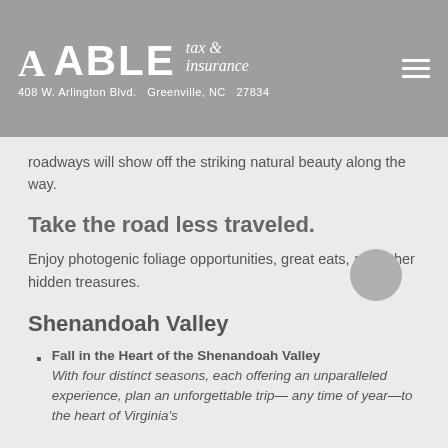ABLE tax & insurance | 408 W. Arlington Blvd. Greenville, NC 27834
roadways will show off the striking natural beauty along the way.
Take the road less traveled.
Enjoy photogenic foliage opportunities, great eats, and other hidden treasures.
Shenandoah Valley
Fall in the Heart of the Shenandoah Valley With four distinct seasons, each offering an unparalleled experience, plan an unforgettable trip— any time of year—to the heart of Virginia's